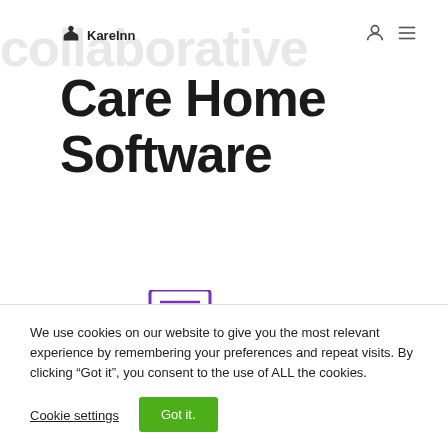KareInn
Care Home Software
[Figure (illustration): Purple icon of a printer with a document/paper coming out of it]
We use cookies on our website to give you the most relevant experience by remembering your preferences and repeat visits. By clicking “Got it”, you consent to the use of ALL the cookies.
Cookie settings
Got it.